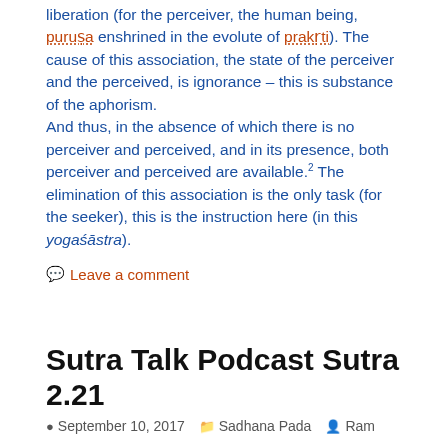liberation (for the perceiver, the human being, puruṣa enshrined in the evolute of prakṛti). The cause of this association, the state of the perceiver and the perceived, is ignorance – this is substance of the aphorism.
And thus, in the absence of which there is no perceiver and perceived, and in its presence, both perceiver and perceived are available.² The elimination of this association is the only task (for the seeker), this is the instruction here (in this yogaśāstra).
Leave a comment
Sutra Talk Podcast Sutra 2.21
September 10, 2017  Sadhana Pada  Ram